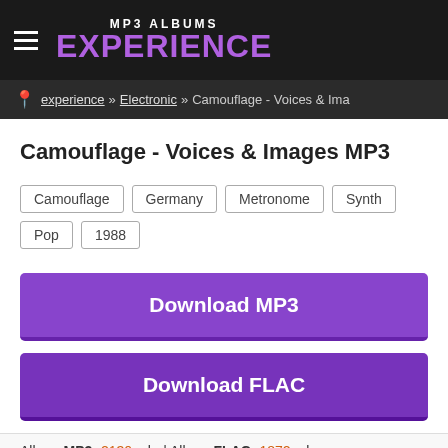MP3 ALBUMS EXPERIENCE
experience » Electronic » Camouflage - Voices & Images
Camouflage - Voices & Images MP3
Camouflage
Germany
Metronome
Synth
Pop
1988
Download MP3
Download FLAC
Album MP3: 2130 mb. | Album FLAC: 1872 mb.